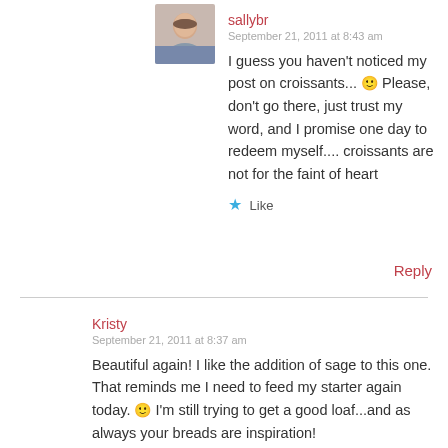[Figure (photo): Avatar photo of sallybr — small portrait of a person]
sallybr
September 21, 2011 at 8:43 am
I guess you haven't noticed my post on croissants... 🙂 Please, don't go there, just trust my word, and I promise one day to redeem myself.... croissants are not for the faint of heart
★ Like
Reply
[Figure (illustration): Avatar image for Kristy — colorful pixel quilt pattern in pink, magenta, and yellow]
Kristy
September 21, 2011 at 8:37 am
Beautiful again! I like the addition of sage to this one. That reminds me I need to feed my starter again today. 🙂 I'm still trying to get a good loaf...and as always your breads are inspiration!